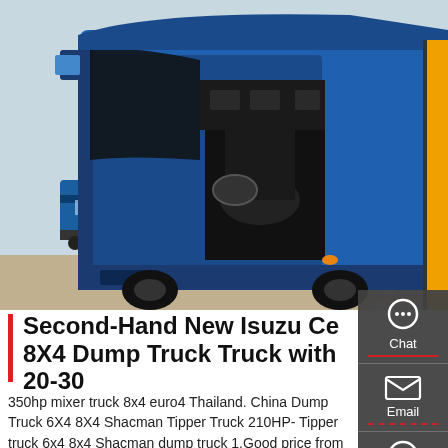[Figure (photo): Blue Isuzu dump truck with cab door open, showing interior dashboard and seat. Chinese text visible on the side of the truck body. Other blue trucks visible in background.]
Second-Hand New Isuzu Ce 8X4 Dump Truck Truck with 20-30
350hp mixer truck 8x4 euro4 Thailand. China Dump Truck 6X4 8X4 Shacman Tipper Truck 210HP- Tipper truck 6x4 8x4 Shacman dump truck 1.Good price from factory 2.High quality 3.Quick delivery 4.Spare parts for sale too The F2000/F3000 Series products are the latest success of SHACMAN.